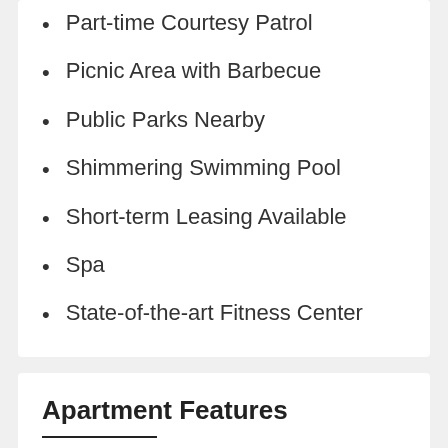Part-time Courtesy Patrol
Picnic Area with Barbecue
Public Parks Nearby
Shimmering Swimming Pool
Short-term Leasing Available
Spa
State-of-the-art Fitness Center
Apartment Features
Balcony or Patio